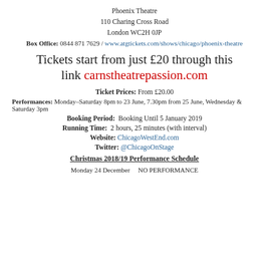Phoenix Theatre
110 Charing Cross Road
London WC2H 0JP
Box Office: 0844 871 7629 / www.atgtickets.com/shows/chicago/phoenix-theatre
Tickets start from just £20 through this link carnstheatrepassion.com
Ticket Prices: From £20.00
Performances: Monday–Saturday 8pm to 23 June, 7.30pm from 25 June, Wednesday & Saturday 3pm
Booking Period: Booking Until 5 January 2019
Running Time: 2 hours, 25 minutes (with interval)
Website: ChicagoWestEnd.com
Twitter: @ChicagoOnStage
Christmas 2018/19 Performance Schedule
Monday 24 December    NO PERFORMANCE